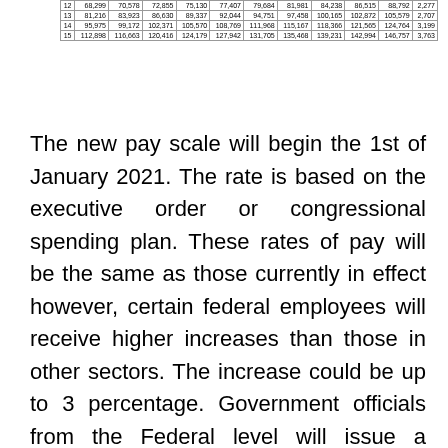| 12 | 68,299 | 70,578 | 72,855 | 75,130 | 77,407 | 79,684 | 81,981 | 84,238 | 86,515 | 88,792 | 2,277 |
| 13 | 81,216 | 83,923 | 86,630 | 89,337 | 92,044 | 94,751 | 97,458 | 100,165 | 102,872 | 105,579 | 2,707 |
| 14 | 95,975 | 99,172 | 102,371 | 105,570 | 108,769 | 111,968 | 115,167 | 118,366 | 121,565 | 124,764 | 3,199 |
| 15 | 112,898 | 116,663 | 120,416 | 124,179 | 127,942 | 131,705 | 135,468 | 139,231 | 142,994 | 146,757 | 3,763 |
The new pay scale will begin the 1st of January 2021. The rate is based on the executive order or congressional spending plan. These rates of pay will be the same as those currently in effect however, certain federal employees will receive higher increases than those in other sectors. The increase could be up to 3 percentage. Government officials from the Federal level will issue a separate notice for each new salary level to detail the new range and provide additional information.